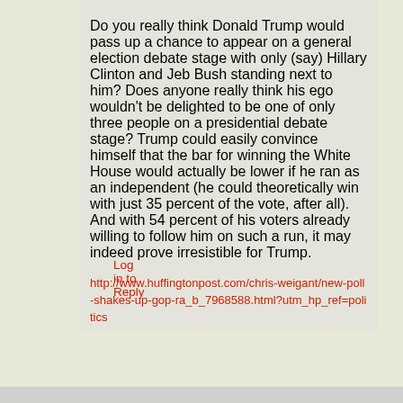Do you really think Donald Trump would pass up a chance to appear on a general election debate stage with only (say) Hillary Clinton and Jeb Bush standing next to him? Does anyone really think his ego wouldn't be delighted to be one of only three people on a presidential debate stage? Trump could easily convince himself that the bar for winning the White House would actually be lower if he ran as an independent (he could theoretically win with just 35 percent of the vote, after all). And with 54 percent of his voters already willing to follow him on such a run, it may indeed prove irresistible for Trump.
http://www.huffingtonpost.com/chris-weigant/new-poll-shakes-up-gop-ra_b_7968588.html?utm_hp_ref=politics
Log in to Reply